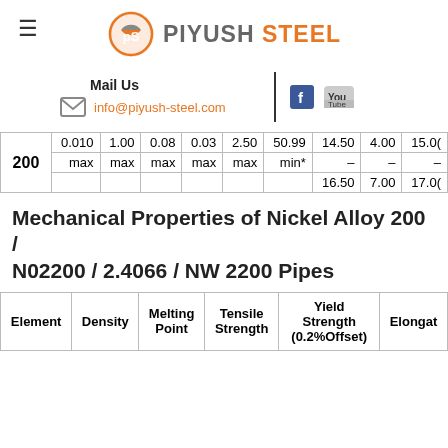PIYUSH STEEL
Mail Us
info@piyush-steel.com
|  |  |  |  |  |  |  |  |  |  |
| --- | --- | --- | --- | --- | --- | --- | --- | --- | --- |
| 200 | 0.010 max | 1.00 max | 0.08 max | 0.03 max | 2.50 max | 50.99 min* | 14.50 / – / 16.50 | 4.00 / – / 7.00 | 15.00 / – / 17.00 |
Mechanical Properties of Nickel Alloy 200 / N02200 / 2.4066 / NW 2200 Pipes
| Element | Density | Melting Point | Tensile Strength | Yield Strength (0.2%Offset) | Elongat |
| --- | --- | --- | --- | --- | --- |